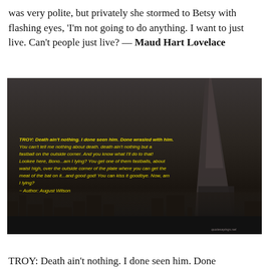was very polite, but privately she stormed to Betsy with flashing eyes, 'I'm not going to do anything. I want to just live. Can't people just live? — Maud Hart Lovelace
[Figure (photo): Dark nighttime cityscape photo showing The Shard skyscraper in London against a dark sky, with yellow italic text overlay of an August Wilson quote from the play Fences (TROY's speech about death and fastballs). Watermark: quotesayings.net]
TROY: Death ain't nothing. I done seen him. Done